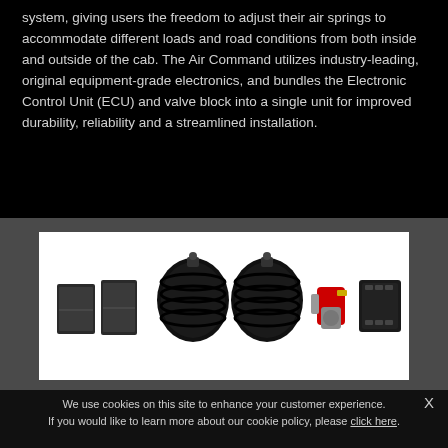system, giving users the freedom to adjust their air springs to accommodate different loads and road conditions from both inside and outside of the cab. The Air Command utilizes industry-leading, original equipment-grade electronics, and bundles the Electronic Control Unit (ECU) and valve block into a single unit for improved durability, reliability and a streamlined installation.
[Figure (photo): Product photo showing air suspension components on white background: two mounting brackets on the left, two black air springs (rubber bellows) in the center, a red compressor/valve assembly, and a black ECU/valve block unit on the right.]
We use cookies on this site to enhance your customer experience. If you would like to learn more about our cookie policy, please click here.